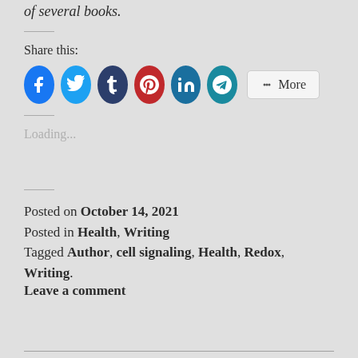of several books.
Share this:
[Figure (other): Social sharing icons: Facebook (blue), Twitter (light blue), Tumblr (dark blue), Pinterest (red), LinkedIn (teal), Telegram (teal), and a More button]
Loading...
Posted on October 14, 2021
Posted in Health, Writing
Tagged Author, cell signaling, Health, Redox, Writing.
Leave a comment